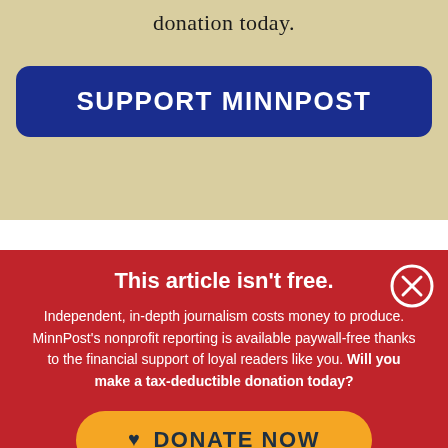donation today.
SUPPORT MINNPOST
This article isn't free.
Independent, in-depth journalism costs money to produce. MinnPost's nonprofit reporting is available paywall-free thanks to the financial support of loyal readers like you. Will you make a tax-deductible donation today?
DONATE NOW